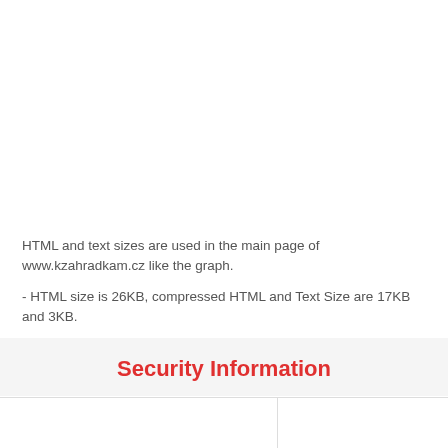HTML and text sizes are used in the main page of www.kzahradkam.cz like the graph.
- HTML size is 26KB, compressed HTML and Text Size are 17KB and 3KB.
- There is up to 0 percent of the difference between the size of HTML and the compressed HTML size. If you can compress your HTML, you can have a smaller size site.
Security Information
|  |  |